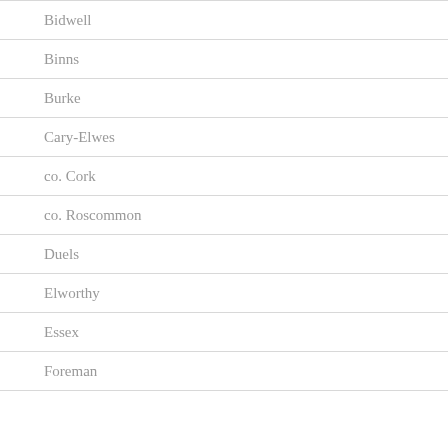Bidwell
Binns
Burke
Cary-Elwes
co. Cork
co. Roscommon
Duels
Elworthy
Essex
Foreman